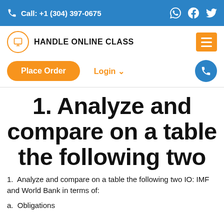Call: +1 (304) 397-0675
HANDLE ONLINE CLASS
Place Order   Login   (phone icon)
1. Analyze and compare on a table the following two
1.  Analyze and compare on a table the following two IO: IMF and World Bank in terms of:
a.  Obligations